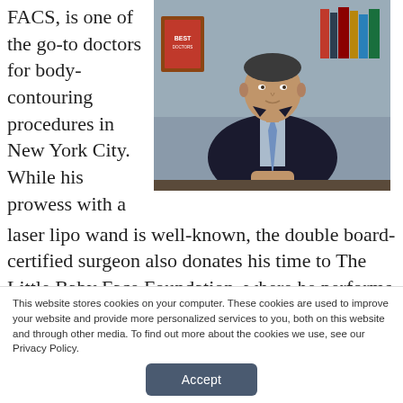FACS, is one of the go-to doctors for body-contouring procedures in New York City. While his prowess with a laser lipo wand is well-known, the double board-certified surgeon also donates his time to The Little Baby Face Foundation, where he performs life-
[Figure (photo): A man in a dark suit with a light blue shirt and tie, sitting at a desk with hands clasped, in front of a 'Best Doctors' award plaque and bookshelves]
This website stores cookies on your computer. These cookies are used to improve your website and provide more personalized services to you, both on this website and through other media. To find out more about the cookies we use, see our Privacy Policy.